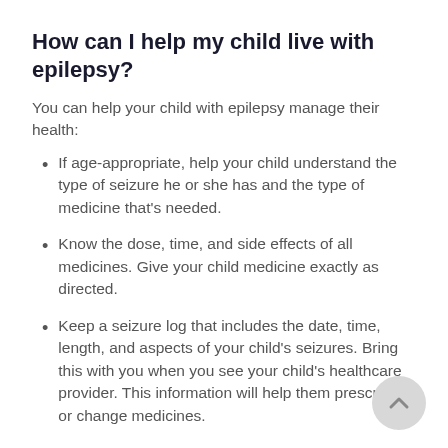How can I help my child live with epilepsy?
You can help your child with epilepsy manage their health:
If age-appropriate, help your child understand the type of seizure he or she has and the type of medicine that's needed.
Know the dose, time, and side effects of all medicines. Give your child medicine exactly as directed.
Keep a seizure log that includes the date, time, length, and aspects of your child's seizures. Bring this with you when you see your child's healthcare provider. This information will help them prescribe or change medicines.